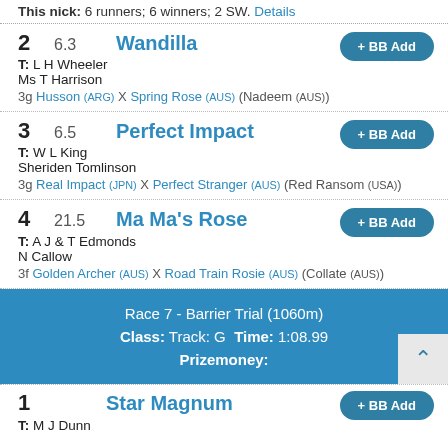This nick: 6 runners; 6 winners; 2 SW. Details
2  6.3  Wandilla
T: L H Wheeler
Ms T Harrison
3g Husson (ARG) X Spring Rose (AUS) (Nadeem (AUS))
3  6.5  Perfect Impact
T: W L King
Sheriden Tomlinson
3g Real Impact (JPN) X Perfect Stranger (AUS) (Red Ransom (USA))
4  21.5  Ma Ma's Rose
T: A J & T Edmonds
N Callow
3f Golden Archer (AUS) X Road Train Rosie (AUS) (Collate (AUS))
Race 7 - Barrier Trial (1060m)
Class: Track: G  Time: 1:08.99
Prizemoney:
1  Star Magnum
T: M J Dunn